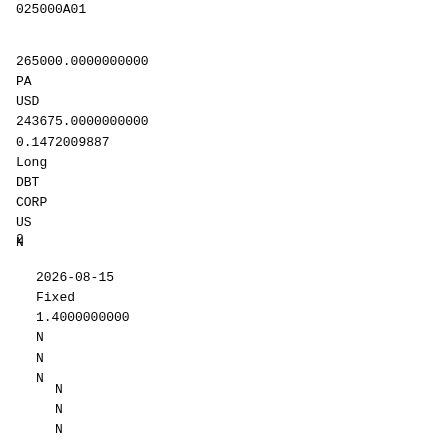025000A01
265000.0000000000
PA
USD
243675.0000000000
0.1472009887
Long
DBT
CORP
US
N
2
2026-08-15
Fixed
1.4000000000
N
N
N
N
N
N